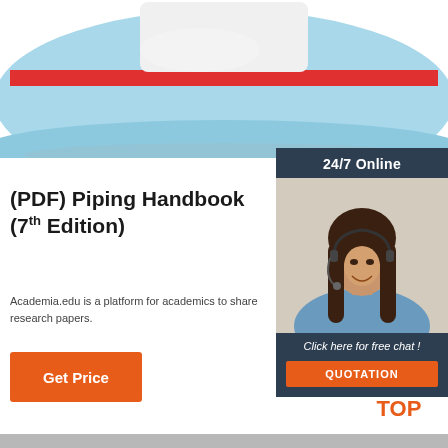[Figure (photo): Light blue and red baseball cap / visor hat, partially cropped, white background, top portion of page]
[Figure (photo): Advertisement panel: dark blue background with '24/7 Online' header, photo of smiling woman with headset, 'Click here for free chat!' text, orange QUOTATION button]
(PDF) Piping Handbook (7th Edition)
Academia.edu is a platform for academics to share research papers.
[Figure (other): Orange 'Get Price' button]
[Figure (logo): TOP icon with orange dots arranged in triangle above the word TOP in orange]
[Figure (other): Gray bar at bottom of page]